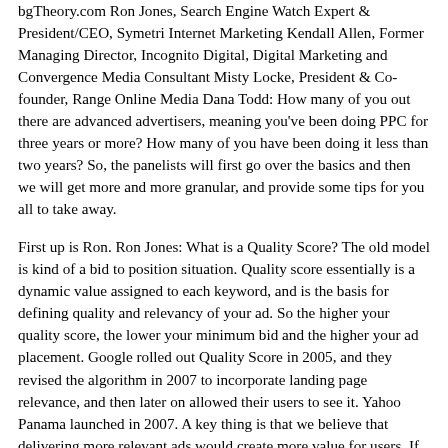bgTheory.com Ron Jones, Search Engine Watch Expert & President/CEO, Symetri Internet Marketing Kendall Allen, Former Managing Director, Incognito Digital, Digital Marketing and Convergence Media Consultant Misty Locke, President & Co-founder, Range Online Media Dana Todd: How many of you out there are advanced advertisers, meaning you've been doing PPC for three years or more? How many of you have been doing it less than two years? So, the panelists will first go over the basics and then we will get more and more granular, and provide some tips for you all to take away.
First up is Ron. Ron Jones: What is a Quality Score? The old model is kind of a bid to position situation. Quality score essentially is a dynamic value assigned to each keyword, and is the basis for defining quality and relevancy of your ad. So the higher your quality score, the lower your minimum bid and the higher your ad placement. Google rolled out Quality Score in 2005, and they revised the algorithm in 2007 to incorporate landing page relevance, and then later on allowed their users to see it. Yahoo Panama launched in 2007. A key thing is that we believe that delivering more relevant ads would create more value for users. If search engines can deliver more relevance that makes them look good and then you look good. So Quality Score a way to bring more relevant situations. Where to find the Quality Score? You